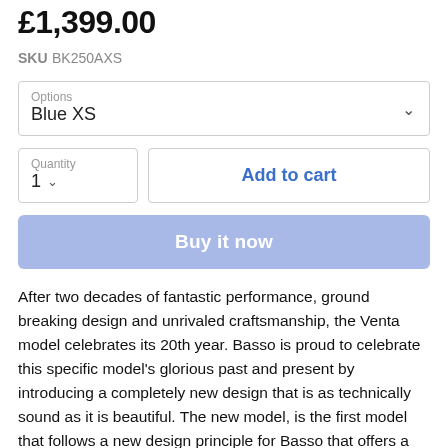£1,399.00
SKU BK250AXS
Options: Blue XS
Quantity: 1
Add to cart
Buy it now
After two decades of fantastic performance, ground breaking design and unrivaled craftsmanship, the Venta model celebrates its 20th year. Basso is proud to celebrate this specific model’s glorious past and present by introducing a completely new design that is as technically sound as it is beautiful. The new model, is the first model that follows a new design principle for Basso that offers a stronger family feeling and more coherence in terms of